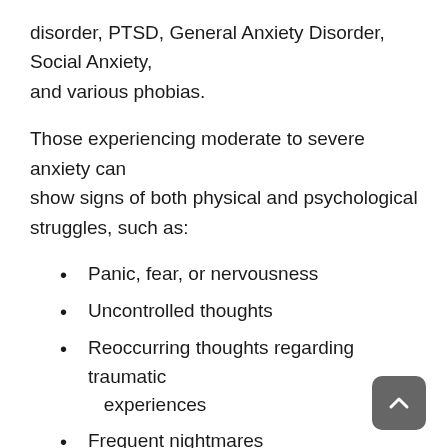disorder, PTSD, General Anxiety Disorder, Social Anxiety, and various phobias.
Those experiencing moderate to severe anxiety can show signs of both physical and psychological struggles, such as:
Panic, fear, or nervousness
Uncontrolled thoughts
Reoccurring thoughts regarding traumatic experiences
Frequent nightmares
Compulsive behaviors
Difficulty sleeping
Muscle tension
Sweaty palms or cold hands
Shortness of breath